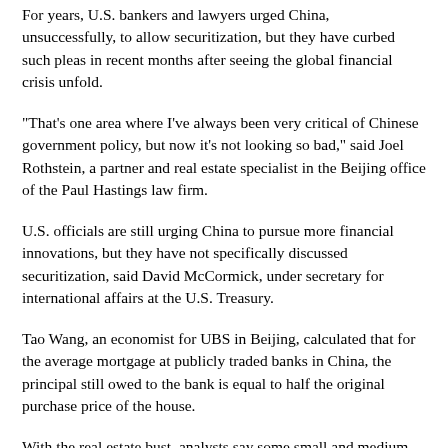For years, U.S. bankers and lawyers urged China, unsuccessfully, to allow securitization, but they have curbed such pleas in recent months after seeing the global financial crisis unfold.
"That's one area where I've always been very critical of Chinese government policy, but now it's not looking so bad," said Joel Rothstein, a partner and real estate specialist in the Beijing office of the Paul Hastings law firm.
U.S. officials are still urging China to pursue more financial innovations, but they have not specifically discussed securitization, said David McCormick, under secretary for international affairs at the U.S. Treasury.
Tao Wang, an economist for UBS in Beijing, calculated that for the average mortgage at publicly traded banks in China, the principal still owed to the bank is equal to half the original purchase price of the house.
With the real estate bust, analysts say some small and medium-size banks with greater exposure to the sector could face difficulties. But large banks, which have reformatted